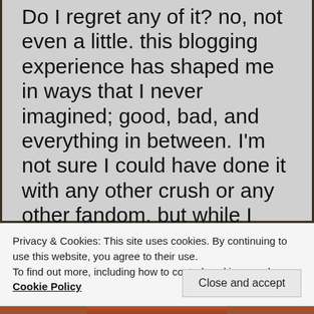Do I regret any of it? no, not even a little. this blogging experience has shaped me in ways that I never imagined; good, bad, and everything in between. I'm not sure I could have done it with any other crush or any other fandom. but while I may be done blogging about Richard Armitage, that does not mean I am ready to quit being a fan of Richard's or leave the fandom
Privacy & Cookies: This site uses cookies. By continuing to use this website, you agree to their use. To find out more, including how to control cookies, see here: Cookie Policy
Close and accept
[Figure (photo): Partial photo of a person, cropped at the bottom of the page, showing the top of a head]